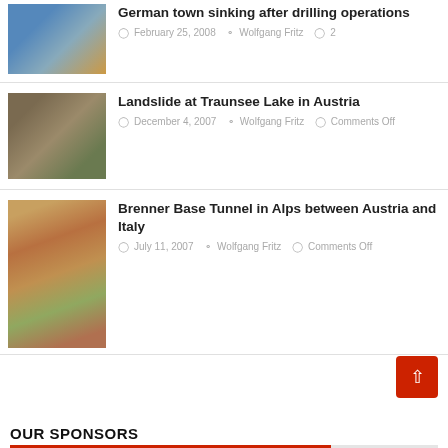[Figure (photo): Thumbnail photo of a building (German town sinking article)]
German town sinking after drilling operations
February 25, 2008  Wolfgang Fritz  2
[Figure (photo): Thumbnail photo of landslide debris at Traunsee Lake]
Landslide at Traunsee Lake in Austria
December 4, 2007  Wolfgang Fritz  Comments Off
[Figure (map): Topographic map thumbnail of Alps region for Brenner Base Tunnel article]
Brenner Base Tunnel in Alps between Austria and Italy
July 11, 2007  Wolfgang Fritz  Comments Off
OUR SPONSORS